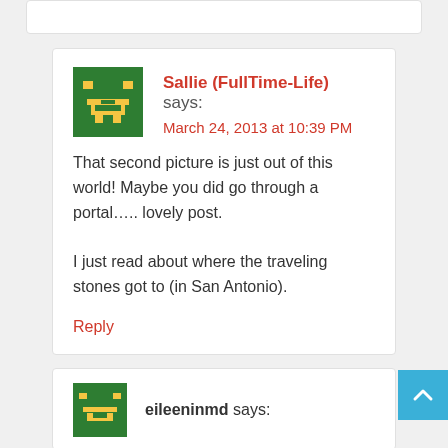[Figure (illustration): Pixel art / avatar icon — green background with golden pixel character (Sallie FullTime-Life avatar)]
Sallie (FullTime-Life) says: March 24, 2013 at 10:39 PM
That second picture is just out of this world! Maybe you did go through a portal….. lovely post.

I just read about where the traveling stones got to (in San Antonio).
Reply
[Figure (illustration): Pixel art / avatar icon — green background with golden pixel character (eileeninmd avatar)]
eileeninmd says: